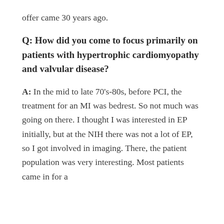offer came 30 years ago.
Q: How did you come to focus primarily on patients with hypertrophic cardiomyopathy and valvular disease?
A: In the mid to late 70's-80s, before PCI, the treatment for an MI was bedrest. So not much was going on there. I thought I was interested in EP initially, but at the NIH there was not a lot of EP, so I got involved in imaging. There, the patient population was very interesting. Most patients came in for a